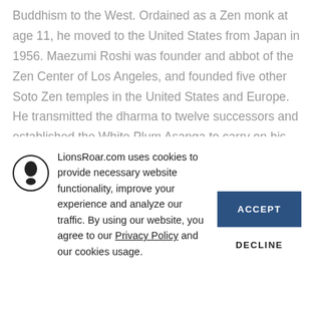Buddhism to the West. Ordained as a Zen monk at age 11, he moved to the United States from Japan in 1956. Maezumi Roshi was founder and abbot of the Zen Center of Los Angeles, and founded five other Soto Zen temples in the United States and Europe. He transmitted the dharma to twelve successors and established the White Plum Asanga to carry on his lineage.
LionsRoar.com uses cookies to provide necessary website functionality, improve your experience and analyze our traffic. By using our website, you agree to our Privacy Policy and our cookies usage.
ACCEPT
DECLINE